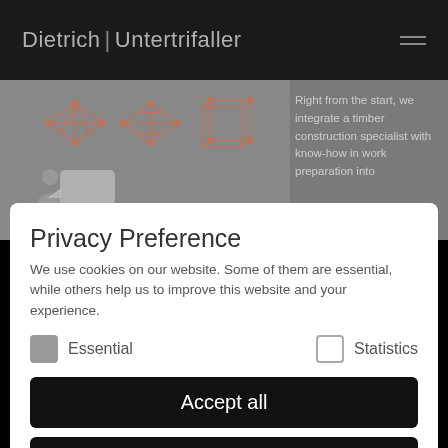Dietrich | Untertrifaller
[Figure (screenshot): Website background showing geometric 3D wireframe shapes (cubes/polyhedra drawn with red/orange lines) and a person icon with speech bubble. Text overlay reads: 'Right from the start, we integrate a timber construction specialist with know-how in work preparation into']
Privacy Preference
We use cookies on our website. Some of them are essential, while others help us to improve this website and your experience.
Essential
Statistics
Accept all
Save
Individual Privacy Preferences
Cookie Details | Privacy Policy | Imprint